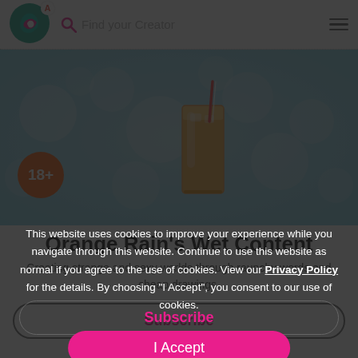Find your Creator
[Figure (screenshot): Hero banner with teal bokeh background and orange drink glass with straw, 18+ badge in orange circle]
Orange Rain's Wet Content
Creating strange and sexy worlds through raunchy words and cheap drawings.
This website uses cookies to improve your experience while you navigate through this website. Continue to use this website as normal if you agree to the use of cookies. View our Privacy Policy for the details. By choosing "I Accept", you consent to our use of cookies.